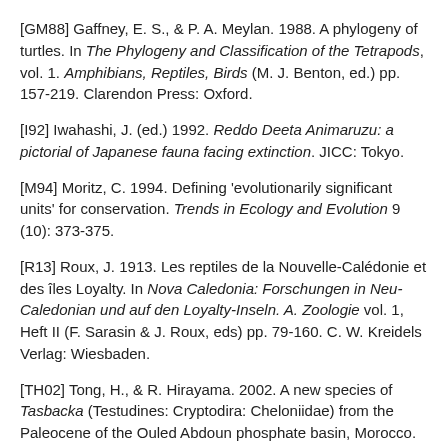[GM88] Gaffney, E. S., & P. A. Meylan. 1988. A phylogeny of turtles. In The Phylogeny and Classification of the Tetrapods, vol. 1. Amphibians, Reptiles, Birds (M. J. Benton, ed.) pp. 157-219. Clarendon Press: Oxford.
[I92] Iwahashi, J. (ed.) 1992. Reddo Deeta Animaruzu: a pictorial of Japanese fauna facing extinction. JICC: Tokyo.
[M94] Moritz, C. 1994. Defining 'evolutionarily significant units' for conservation. Trends in Ecology and Evolution 9 (10): 373-375.
[R13] Roux, J. 1913. Les reptiles de la Nouvelle-Calédonie et des îles Loyalty. In Nova Caledonia: Forschungen in Neu-Caledonian und auf den Loyalty-Inseln. A. Zoologie vol. 1, Heft II (F. Sarasin & J. Roux, eds) pp. 79-160. C. W. Kreidels Verlag: Wiesbaden.
[TH02] Tong, H., & R. Hirayama. 2002. A new species of Tasbacka (Testudines: Cryptodira: Cheloniidae) from the Paleocene of the Ouled Abdoun phosphate basin, Morocco.